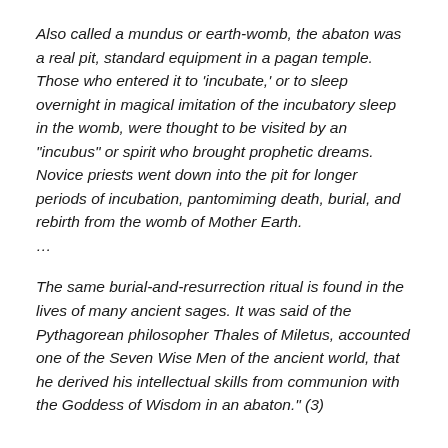Also called a mundus or earth-womb, the abaton was a real pit, standard equipment in a pagan temple. Those who entered it to 'incubate,' or to sleep overnight in magical imitation of the incubatory sleep in the womb, were thought to be visited by an "incubus" or spirit who brought prophetic dreams. Novice priests went down into the pit for longer periods of incubation, pantomiming death, burial, and rebirth from the womb of Mother Earth. …
The same burial-and-resurrection ritual is found in the lives of many ancient sages. It was said of the Pythagorean philosopher Thales of Miletus, accounted one of the Seven Wise Men of the ancient world, that he derived his intellectual skills from communion with the Goddess of Wisdom in an abaton." (3)